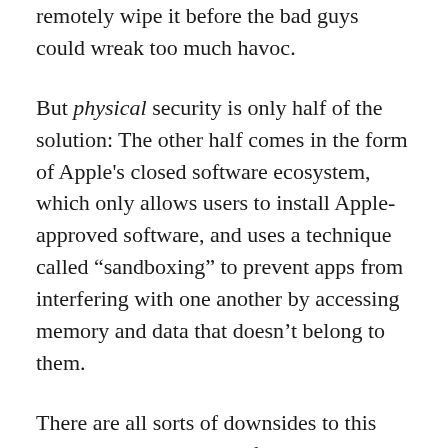remotely wipe it before the bad guys could wreak too much havoc.
But physical security is only half of the solution: The other half comes in the form of Apple’s closed software ecosystem, which only allows users to install Apple-approved software, and uses a technique called “sandboxing” to prevent apps from interfering with one another by accessing memory and data that doesn’t belong to them.
There are all sorts of downsides to this approach, not the least of which is that Apple has maintained a tight grip over which apps make it on the App Store—sometimes with questionable results. However, there is also a major upside: iOS remains relatively safe from the installation of malicious software. I can let games and banking apps coexist with the